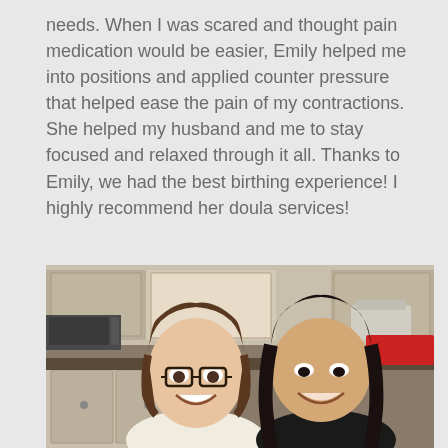needs. When I was scared and thought pain medication would be easier, Emily helped me into positions and applied counter pressure that helped ease the pain of my contractions. She helped my husband and me to stay focused and relaxed through it all. Thanks to Emily, we had the best birthing experience! I highly recommend her doula services!
[Figure (photo): Two women smiling together in a kitchen setting. The woman on the left has brown hair and glasses, wearing a white top. The woman on the right has long dark hair and is wearing a black top.]